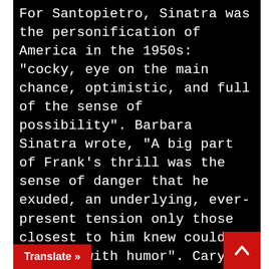For Santopietro, Sinatra was the personification of America in the 1950s: "cocky, eye on the main chance, optimistic, and full of the sense of possibility". Barbara Sinatra wrote, "A big part of Frank's thrill was the sense of danger that he exuded, an underlying, ever-present tension only those closest to him knew could be defused with humor". Cary Grant, a friend of Sinatra's, stated that Sinatra was the "most honest person he'd ever met", who spoke "a simple truth, without artifice which scared people", and was often moved to tears by his performances. ennison commented that he